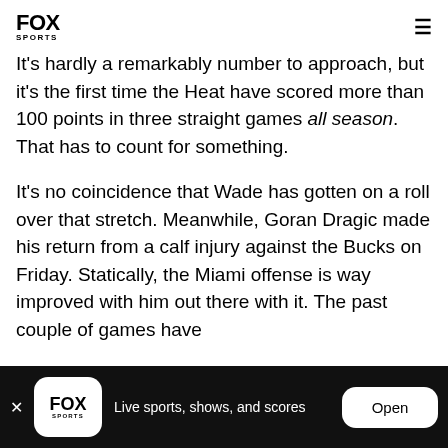FOX SPORTS
It's hardly a remarkably number to approach, but it's the first time the Heat have scored more than 100 points in three straight games all season. That has to count for something.
It's no coincidence that Wade has gotten on a roll over that stretch. Meanwhile, Goran Dragic made his return from a calf injury against the Bucks on Friday. Statically, the Miami offense is way improved with him out there with it. The past couple of games have
FOX SPORTS — Live sports, shows, and scores — Open